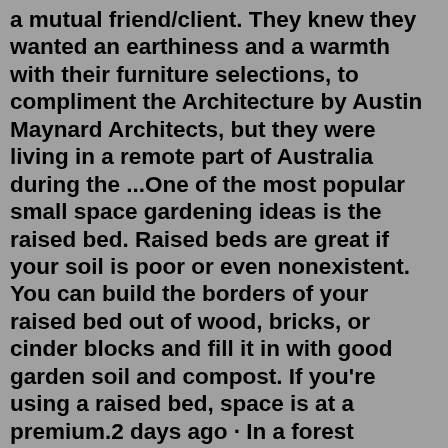a mutual friend/client. They knew they wanted an earthiness and a warmth with their furniture selections, to compliment the Architecture by Austin Maynard Architects, but they were living in a remote part of Australia during the ...One of the most popular small space gardening ideas is the raised bed. Raised beds are great if your soil is poor or even nonexistent. You can build the borders of your raised bed out of wood, bricks, or cinder blocks and fill it in with good garden soil and compost. If you're using a raised bed, space is at a premium.2 days ago · In a forest garden, vertical space can be divided into seven layers that overlap in an organic way. The overstory includes the tallest plants, those that grow to 30 feet (9 m) or taller. Black locust and walnut trees are examples of overstory plants. The understory contains trees that reach between 10 and 30 feet (3–9 m) tall. Garden Rental spaces are available in two different sizes.: Small spaces are 6' x 12', $45 per month with a 7 month commitment. Large spaces are 6' x 24', $75 per month with a 7 month commitment.